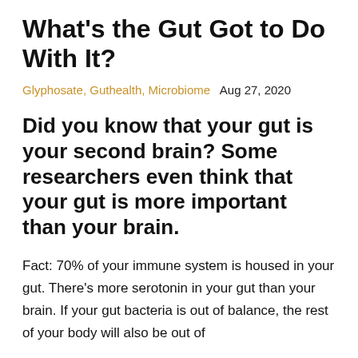What's the Gut Got to Do With It?
Glyphosate, Guthealth, Microbiome   Aug 27, 2020
Did you know that your gut is your second brain? Some researchers even think that your gut is more important than your brain.
Fact: 70% of your immune system is housed in your gut. There’s more serotonin in your gut than your brain. If your gut bacteria is out of balance, the rest of your body will also be out of